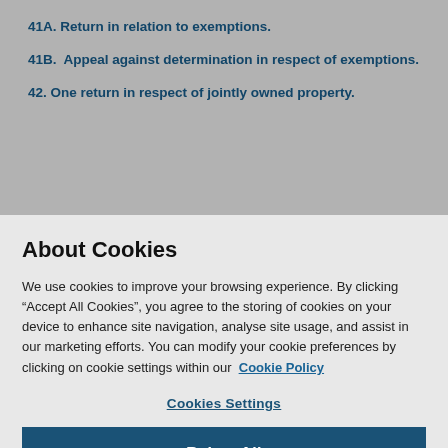41A. Return in relation to exemptions.
41B. Appeal against determination in respect of exemptions.
42. One return in respect of jointly owned property.
About Cookies
We use cookies to improve your browsing experience. By clicking “Accept All Cookies”, you agree to the storing of cookies on your device to enhance site navigation, analyse site usage, and assist in our marketing efforts. You can modify your cookie preferences by clicking on cookie settings within our Cookie Policy
Cookies Settings
Reject All
Accept All Cookies